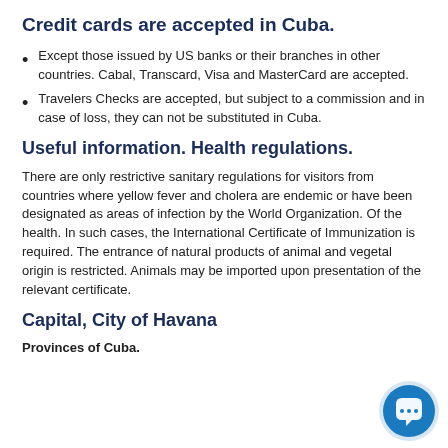Credit cards are accepted in Cuba.
Except those issued by US banks or their branches in other countries. Cabal, Transcard, Visa and MasterCard are accepted.
Travelers Checks are accepted, but subject to a commission and in case of loss, they can not be substituted in Cuba.
Useful information. Health regulations.
There are only restrictive sanitary regulations for visitors from countries where yellow fever and cholera are endemic or have been designated as areas of infection by the World Organization. Of the health. In such cases, the International Certificate of Immunization is required. The entrance of natural products of animal and vegetal origin is restricted. Animals may be imported upon presentation of the relevant certificate.
Capital, City of Havana
Provinces of Cuba.